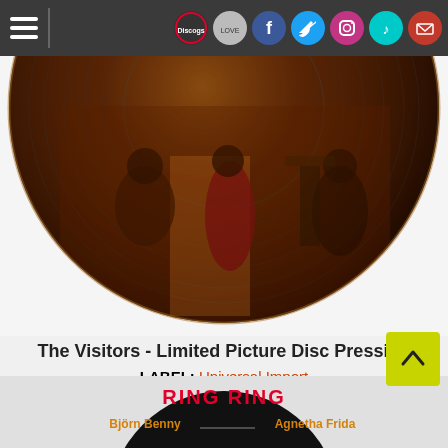Navigation bar with hamburger menu and social icons: Discogs, love, Facebook, Twitter, Instagram, TikTok, Mail
[Figure (photo): Picture disc vinyl record showing ABBA members in a room with ornate furniture, warm amber/red tones, partial circular crop showing upper half of the record]
The Visitors - Limited Picture Disc Pressing
LABEL: Universal Import
2022-06-17
Vinyl: $56.99  + BUY
[Figure (photo): Bottom portion of another vinyl picture disc showing 'RING RING' text in red and 'Björn Benny' and 'Agnetha Frida' text in orange on a dark background]